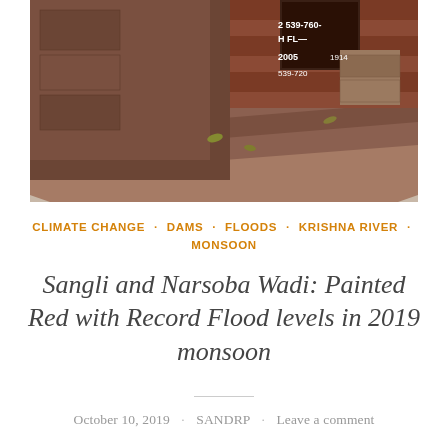[Figure (photo): Stone steps and brick wall at a flood measurement site, with white painted flood level markings on the wall including numbers 539-760-2005, HFL 1914, 539-720]
CLIMATE CHANGE · DAMS · FLOODS · KRISHNA RIVER · MONSOON
Sangli and Narsoba Wadi: Painted Red with Record Flood levels in 2019 monsoon
October 10, 2019 · SANDRP · Leave a comment